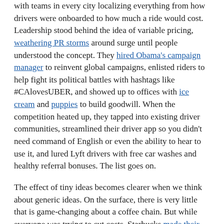with teams in every city localizing everything from how drivers were onboarded to how much a ride would cost. Leadership stood behind the idea of variable pricing, weathering PR storms around surge until people understood the concept. They hired Obama's campaign manager to reinvent global campaigns, enlisted riders to help fight its political battles with hashtags like #CAlovesUBER, and showed up to offices with ice cream and puppies to build goodwill. When the competition heated up, they tapped into existing driver communities, streamlined their driver app so you didn't need command of English or even the ability to hear to use it, and lured Lyft drivers with free car washes and healthy referral bonuses. The list goes on.
The effect of tiny ideas becomes clearer when we think about generic ideas. On the surface, there is very little that is game-changing about a coffee chain. But while everyone was trying to cut costs, Starbucks made their baristas partners and gave them benefits you'd expect of a desk-bound executive. They focused on a relaxed in-store experience—couches and free wifi—instead of cutting corners and cheaper coffee. They opted for day-in-the-life documentaries of store communities rather than outdoor advertising.
Here's the point. You don't need to be working in an entirely new